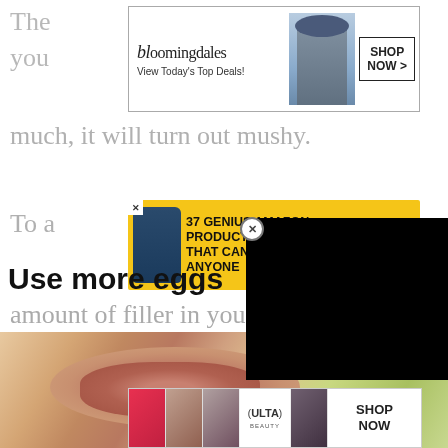The ... how your...
[Figure (screenshot): Bloomingdales advertisement banner: logo with 'bloomingdales', tagline 'View Today's Top Deals!', model in hat, 'SHOP NOW >' button]
much, it will turn out mushy.
[Figure (screenshot): Advertisement banner: '37 GENIUS AMAZON PRODUCTS THAT CAN BE USED BY ANYONE' with supplement bottle image and '22 WORDS' badge on yellow background]
To a... amount of filler in your recipe. This way, you can rest assured that y... the f... have a firmer texture.
Use more eggs
[Figure (photo): Close-up photo of raw meat/meatloaf with vegetables]
[Figure (screenshot): Ulta Beauty advertisement with makeup images and 'SHOP NOW' button]
[Figure (screenshot): Black video player overlay with close (X) button]